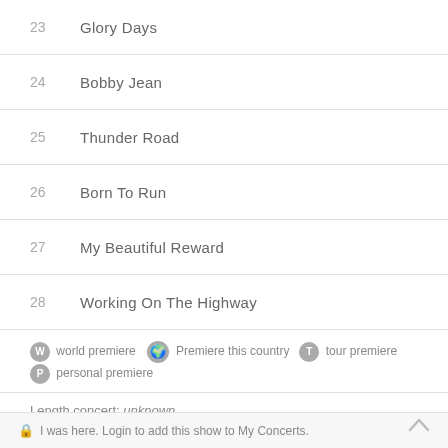23  Glory Days
24  Bobby Jean
25  Thunder Road
26  Born To Run
27  My Beautiful Reward
28  Working On The Highway
W world premiere  [globe] Premiere this country  T tour premiere  P personal premiere
Length concert: unknown
Is this set list incorrect, do you have additions or changes? Pass it on to us via the contact form.
I was here. Login to add this show to My Concerts.